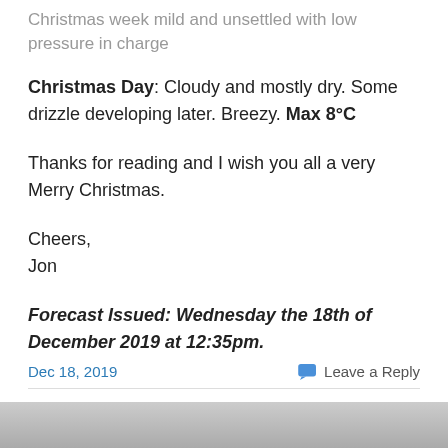Christmas week mild and unsettled with low pressure in charge
Christmas Day: Cloudy and mostly dry. Some drizzle developing later. Breezy. Max 8°C
Thanks for reading and I wish you all a very Merry Christmas.
Cheers,
Jon
Forecast Issued: Wednesday the 18th of December 2019 at 12:35pm.
Dec 18, 2019   Leave a Reply
[Figure (photo): Bottom partial image, appears to be a landscape or weather photo, mostly gray tones]